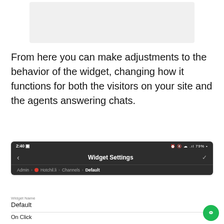[Figure (screenshot): Gray placeholder screenshot area at the top of the page]
From here you can make adjustments to the behavior of the widget, changing how it functions for both the visitors on your site and the agents answering chats.
[Figure (screenshot): Mobile phone screenshot showing Widget Settings screen with dark header, back arrow, checkmark, breadcrumb navigation showing Admin > Hotchil.li > Channels > Default]
Widget Name
Default
On Click